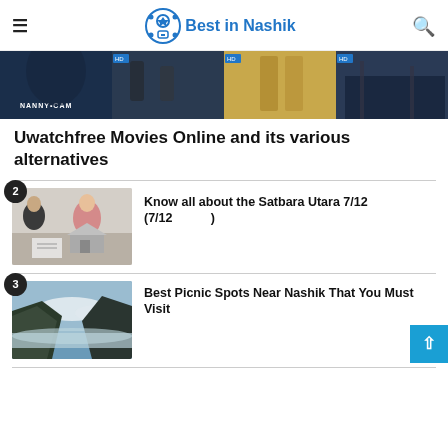Best in Nashik
[Figure (photo): Hero banner showing movie thumbnails including Nanny Cam and other films]
Uwatchfree Movies Online and its various alternatives
2. Know all about the Satbara Utara 7/12 (7/12 )
3. Best Picnic Spots Near Nashik That You Must Visit